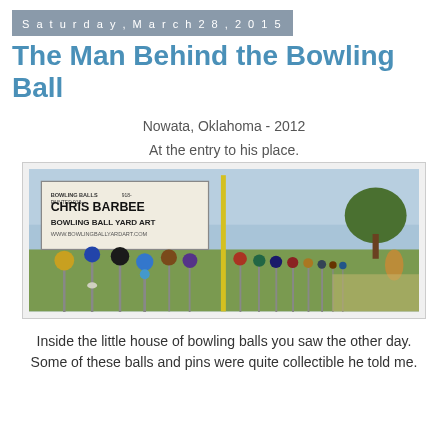Saturday, March 28, 2015
The Man Behind the Bowling Ball
Nowata, Oklahoma - 2012
At the entry to his place.
[Figure (photo): A row of bowling balls on metal poles along a roadside fence, with a sign reading 'CHRIS BARBEE BOWLING BALL YARD ART www.bowlingballyardart.com', green grass, blue sky, and a tree in background. Nowata, Oklahoma, 2012.]
Inside the little house of bowling balls you saw the other day. Some of these balls and pins were quite collectible he told me.